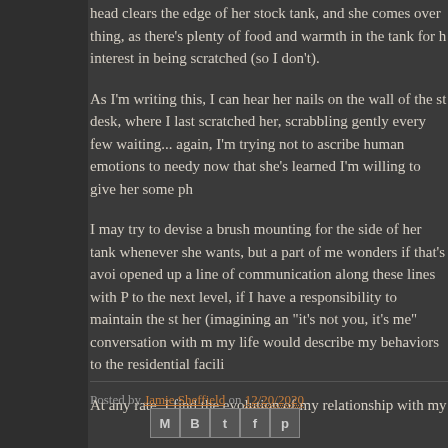head clears the edge of her stock tank, and she comes over thing, as there's plenty of food and warmth in the tank for h interest in being scratched (so I don't).
As I'm writing this, I can hear her nails on the wall of the st desk, where I last scratched her, scrabbling gently every few waiting... again, I'm trying not to ascribe human emotions to needy now that she's learned I'm willing to give her some ph
I may try to devise a brush mounting for the side of her tank whenever she wants, but a part of me wonders if that's avoi opened up a line of communication along these lines with P to the next level, if I have a responsibility to maintain the st her (imagining an "it's not you, it's me" conversation with m my life would describe my behaviors to the residential facili
At any rate, I find the evolution of my relationship with my
Posted by Jamie Sheffield on 12/20/2020